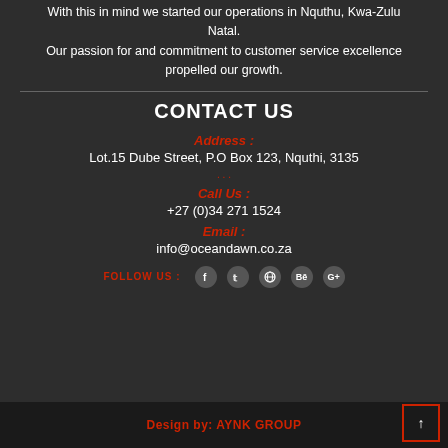With this in mind we started our operations in Nquthu, Kwa-Zulu Natal. Our passion for and commitment to customer service excellence propelled our growth.
CONTACT US
Address :
Lot.15 Dube Street, P.O Box 123, Nquthi, 3135
Call Us :
+27 (0)34 271 1524
Email :
info@oceandawn.co.za
FOLLOW US : [social icons: Facebook, Twitter, Dribbble, Behance, Google+]
Design by: AYNK GROUP